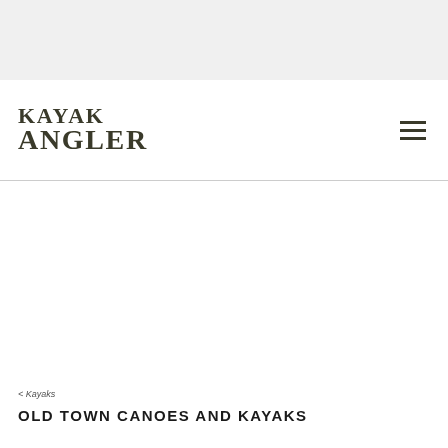[Figure (logo): Kayak Angler magazine logo — stylized serif text reading KAYAK ANGLER stacked on two lines]
< Kayaks
OLD TOWN CANOES AND KAYAKS